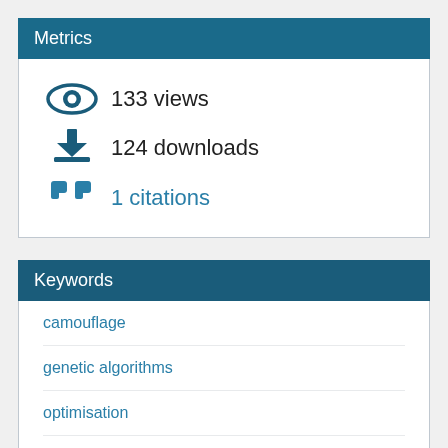Metrics
133 views
124 downloads
1 citations
Keywords
camouflage
genetic algorithms
optimisation
protective colouration